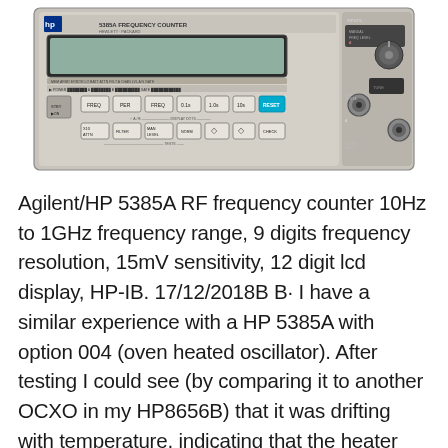[Figure (photo): Photo of an Agilent/HP 5385A RF Frequency Counter instrument, showing front panel with LCD display, function buttons including FREQ, PER, RESET, and BNC input connectors on the right side.]
Agilent/HP 5385A RF frequency counter 10Hz to 1GHz frequency range, 9 digits frequency resolution, 15mV sensitivity, 12 digit lcd display, HP-IB. 17/12/2018B B· I have a similar experience with a HP 5385A with option 004 (oven heated oscillator). After testing I could see (by comparing it to another OCXO in my HP8656B) that it was drifting with temperature, indicating that the heater element is probably defect.